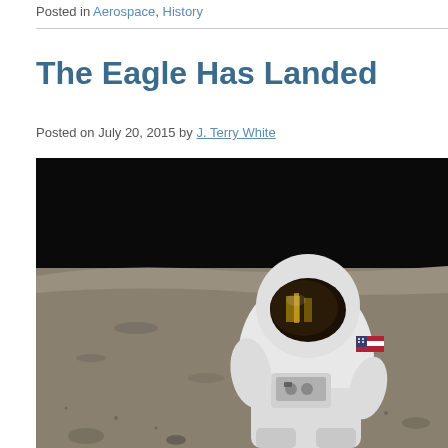Posted in Aerospace, History
The Eagle Has Landed
Posted on July 20, 2015 by J. Terry White
[Figure (photo): Astronaut in white spacesuit with US flag patch walking on the lunar surface, visor reflecting the moon landscape; black sky background, grey rocky lunar terrain.]